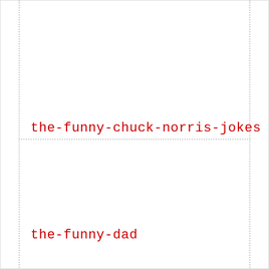the-funny-chuck-norris-jokes
the-funny-dad